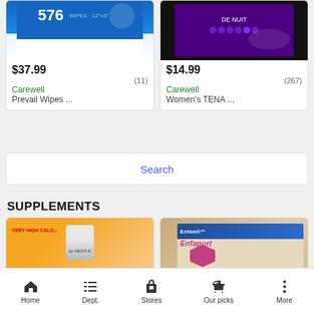[Figure (screenshot): Product card for Prevail Wipes showing price $37.99, 11 reviews, seller Carewell]
[Figure (screenshot): Product card for Women's TENA showing price $14.99, 267 reviews, seller Carewell]
$37.99
(11)
Carewell
Prevail Wipes ...
$14.99
(267)
Carewell
Women's TENA ...
Search
SUPPLEMENTS
[Figure (photo): BOOST high calorie nutritional drink bottle - orange packaging with red Boost logo]
[Figure (photo): Enfaport formula box - beige/tan packaging with navy blue header and pink hexagon shape]
Home   Dept.   Stores   Our picks   More